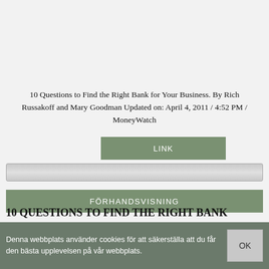10 Questions to Find the Right Bank for Your Business. By Rich Russakoff and Mary Goodman Updated on: April 4, 2011 / 4:52 PM / MoneyWatch
LINK
FÖRHANDSVISNING
10 QUESTIONS TO FIND THE RIGHT BANK
Denna webbplats använder cookies för att säkerställa att du får den bästa upplevelsen på vår webbplats.
OK